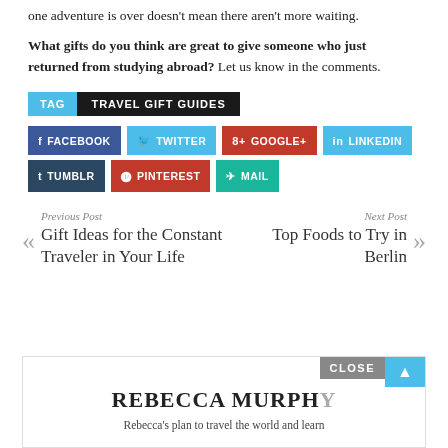one adventure is over doesn't mean there aren't more waiting.
What gifts do you think are great to give someone who just returned from studying abroad? Let us know in the comments.
TAG  TRAVEL GIFT GUIDES
f FACEBOOK  🐦 TWITTER  8+ GOOGLE+  in LINKEDIN  t TUMBLR  🅟 PINTEREST  ✈ MAIL
Previous Post
« Gift Ideas for the Constant Traveler in Your Life
Next Post
Top Foods to Try in Berlin »
CLOSE
REBECCA MURPHY
Rebecca's plan to travel the world and learn